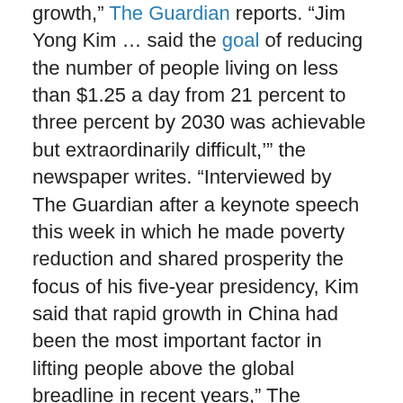growth," The Guardian reports. "Jim Yong Kim ... said the goal of reducing the number of people living on less than $1.25 a day from 21 percent to three percent by 2030 was achievable but extraordinarily difficult,'" the newspaper writes. "Interviewed by The Guardian after a keynote speech this week in which he made poverty reduction and shared prosperity the focus of his five-year presidency, Kim said that rapid growth in China had been the most important factor in lifting people above the global breadline in recent years," The Guardian adds.
"Reducing poverty, Kim added, was impossible without growth, and 90 percent of new jobs would be created by thriving private sectors. But he said growth on its own was not enough, and governments needed to adopt policies that